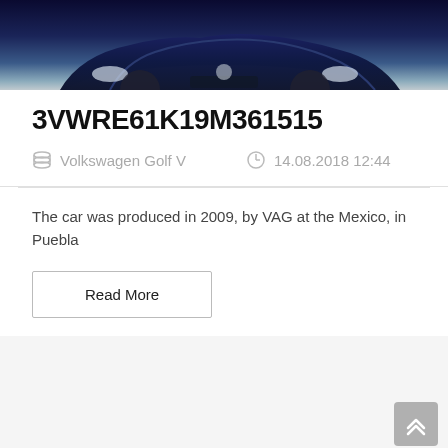[Figure (photo): Front view of a dark blue Volkswagen Golf V car photographed from a low angle against a blurred background]
3VWRE61K19M361515
Volkswagen Golf V   14.08.2018 12:44
The car was produced in 2009, by VAG at the Mexico, in Puebla
Read More